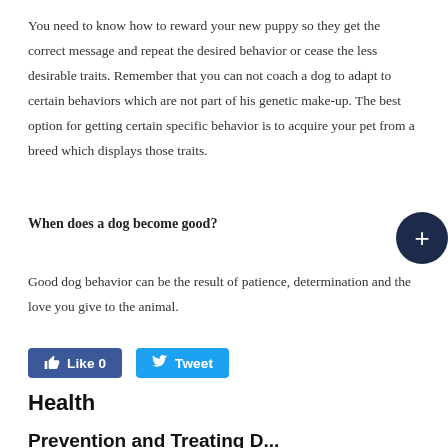You need to know how to reward your new puppy so they get the correct message and repeat the desired behavior or cease the less desirable traits. Remember that you can not coach a dog to adapt to certain behaviors which are not part of his genetic make-up. The best option for getting certain specific behavior is to acquire your pet from a breed which displays those traits.
When does a dog become good?
Good dog behavior can be the result of patience, determination and the love you give to the animal.
Like 0   Tweet
Health
Prevention and Treating D...